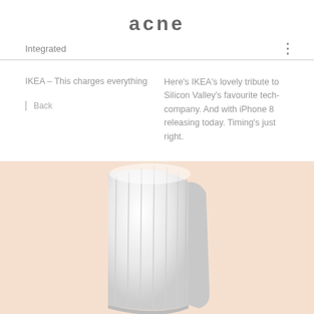ACNE
Integrated
IKEA – This charges everything
Back
Here's IKEA's lovely tribute to Silicon Valley's favourite tech-company. And with iPhone 8 releasing today. Timing's just right.
[Figure (photo): White ribbed wireless charging pad or speaker on a peach/salmon colored background, viewed from above at an angle showing its rounded top]